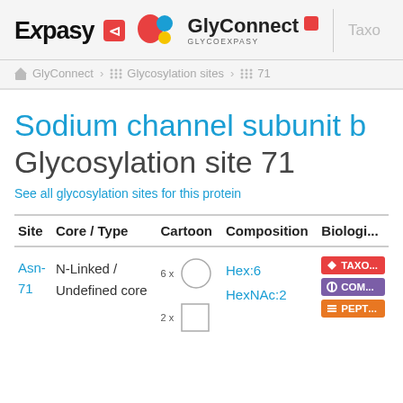Expasy | GlyConnect GLYCOEXPASY | Taxo...
GlyConnect > Glycosylation sites > 71
Sodium channel subunit b
Glycosylation site 71
See all glycosylation sites for this protein
| Site | Core / Type | Cartoon | Composition | Biologi... |
| --- | --- | --- | --- | --- |
| Asn-71 | N-Linked /
Undefined core | 6x circle
2x square | Hex:6
HexNAc:2 | TAXO... COM... PEPT... |